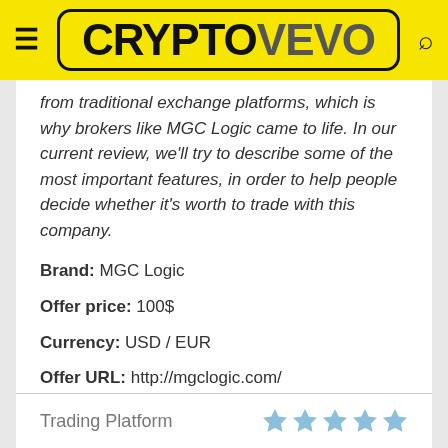CRYPTOVEVO
from traditional exchange platforms, which is why brokers like MGC Logic came to life. In our current review, we'll try to describe some of the most important features, in order to help people decide whether it's worth to trade with this company.
Brand: MGC Logic
Offer price: 100$
Currency: USD / EUR
Offer URL: http://mgclogic.com/
[ More ]
Trading Platform